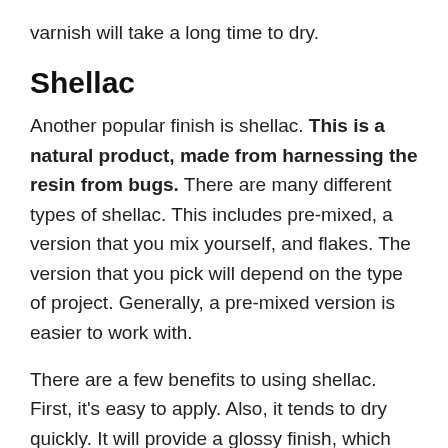varnish will take a long time to dry.
Shellac
Another popular finish is shellac. This is a natural product, made from harnessing the resin from bugs. There are many different types of shellac. This includes pre-mixed, a version that you mix yourself, and flakes. The version that you pick will depend on the type of project. Generally, a pre-mixed version is easier to work with.
There are a few benefits to using shellac. First, it's easy to apply. Also, it tends to dry quickly. It will provide a glossy finish, which can be a great way of bringing out natural features in the wood. However,